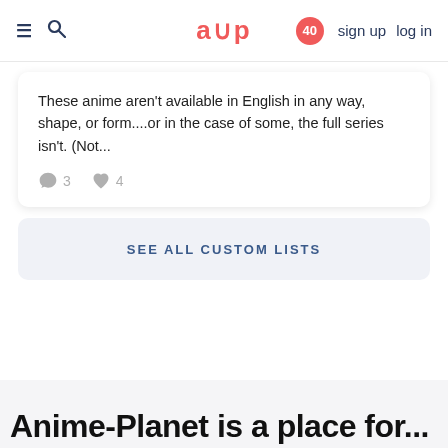≡ 🔍   aup   40   sign up   log in
These anime aren't available in English in any way, shape, or form....or in the case of some, the full series isn't. (Not...
💬 3   🤍 4
SEE ALL CUSTOM LISTS
Anime Planet is a place for...